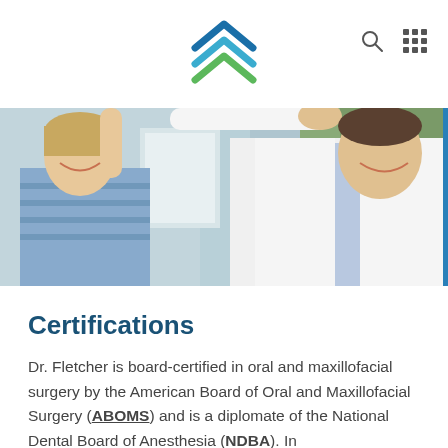Navigation header with logo and icons
[Figure (photo): A young boy and a doctor in a white lab coat giving each other a high five in a medical office setting. The doctor is smiling and wearing a tie. The boy has blonde hair and is wearing a blue striped shirt.]
Certifications
Dr. Fletcher is board-certified in oral and maxillofacial surgery by the American Board of Oral and Maxillofacial Surgery (ABOMS) and is a diplomate of the National Dental Board of Anesthesia (NDBA). In